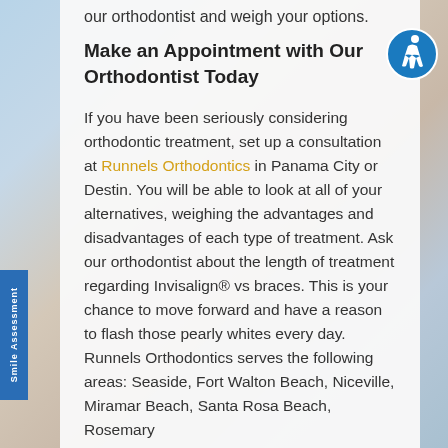our orthodontist and weigh your options.
Make an Appointment with Our Orthodontist Today
If you have been seriously considering orthodontic treatment, set up a consultation at Runnels Orthodontics in Panama City or Destin. You will be able to look at all of your alternatives, weighing the advantages and disadvantages of each type of treatment. Ask our orthodontist about the length of treatment regarding Invisalign® vs braces. This is your chance to move forward and have a reason to flash those pearly whites every day. Runnels Orthodontics serves the following areas: Seaside, Fort Walton Beach, Niceville, Miramar Beach, Santa Rosa Beach, Rosemary